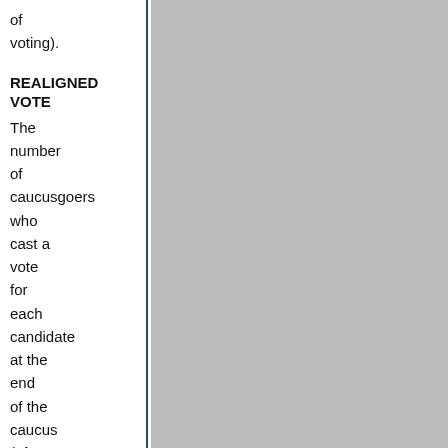of voting).
REALIGNED VOTE
The number of caucusgoers who cast a vote for each candidate at the end of the caucus (after eliminating non-viable